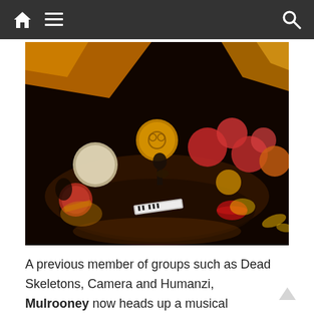Navigation bar with home, menu, and search icons
[Figure (photo): Aerial/overhead view of a live music performance in a dark venue decorated with colorful paper lanterns (red, white, orange). A musician plays guitar at center stage. A keyboard and drums are visible on the floor. Warm yellow and orange lighting illuminates the scene.]
A previous member of groups such as Dead Skeletons, Camera and Humanzi, Mulrooney now heads up a musical collective based out of Berlin that draws elements of classic psychedelia and krautrock with elements of Celtic, African, Asian and other folk music